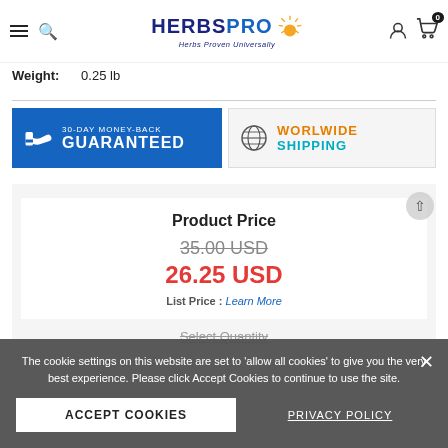HerbsPro - Herbs Proven Universally
Weight: 0.25 lb
[Figure (infographic): 30-Day Money-Back Guaranteed badge (blue background, thumbs up icon) and Worldwide Shipping badge (globe icon, orange and cyan text)]
Product Price
35.00 USD (strikethrough) / 26.25 USD
List Price : Learn More
Select Quantity
The cookie settings on this website are set to 'allow all cookies' to give you the very best experience. Please click Accept Cookies to continue to use the site.
ACCEPT COOKIES | PRIVACY POLICY